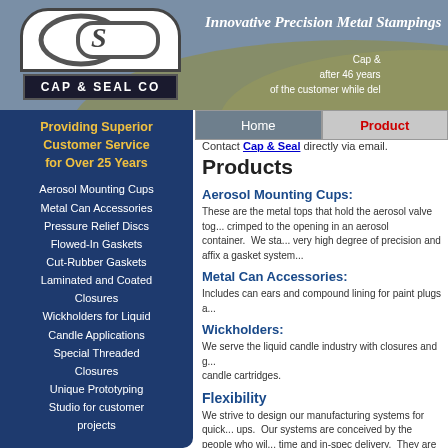[Figure (logo): Cap & Seal Co logo with stylized CS mark and company name]
Innovative Precision Metal Stampings
Cap & Seal Co — after 46 years of the customer while delivering...
Home | Products
Providing Superior Customer Service for Over 25 Years
Aerosol Mounting Cups
Metal Can Accessories
Pressure Relief Discs
Flowed-In Gaskets
Cut-Rubber Gaskets
Laminated and Coated Closures
Wickholders for Liquid Candle Applications
Special Threaded Closures
Unique Prototyping Studio for customer projects
Corporate Office:
1591 Fleetwood Dr.
Elgin, IL 60123
Phone: (847) 741-3101
Fax: (847) 741-0254
Contact Cap & Seal directly via email.
Products
Aerosol Mounting Cups:
These are the metal tops that hold the aerosol valve together and are crimped to the opening in an aerosol container. We stamp these to a very high degree of precision and affix a gasket system...
Metal Can Accessories:
Includes can ears and compound lining for paint plugs a...
Wickholders:
We serve the liquid candle industry with closures and g... candle cartridges.
Flexibility
We strive to design our manufacturing systems for quick... ups. Our systems are conceived by the people who will... time and in-spec delivery. They are designed from the g... over the long haul and provide maximum flexibility to th...